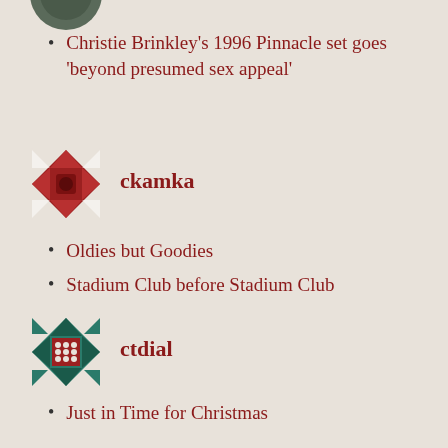[Figure (illustration): Partial circular avatar icon at top, cropped]
Christie Brinkley's 1996 Pinnacle set goes 'beyond presumed sex appeal'
[Figure (illustration): Quilt-pattern avatar icon in dark red for user ckamka]
ckamka
Oldies but Goodies
Stadium Club before Stadium Club
[Figure (illustration): Quilt-pattern avatar icon in teal/dark red for user ctdial]
ctdial
Just in Time for Christmas
Autographed cards
[Figure (illustration): Circular brown avatar with letter H for user NJ Baseball]
NJ Baseball